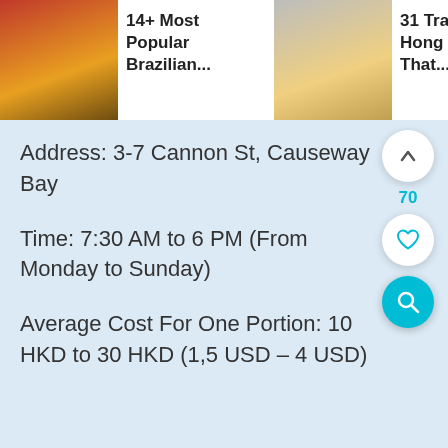[Figure (screenshot): Top navigation bar showing three article thumbnail cards: '14+ Most Popular Brazilian...', '31 Traditional Hong Kong Foods That...', '17+ Hong Kong Dess... In 2022 • A']
Address: 3-7 Cannon St, Causeway Bay
Time: 7:30 AM to 6 PM (From Monday to Sunday)
Average Cost For One Portion: 10 HKD to 30 HKD (1,5 USD – 4 USD)